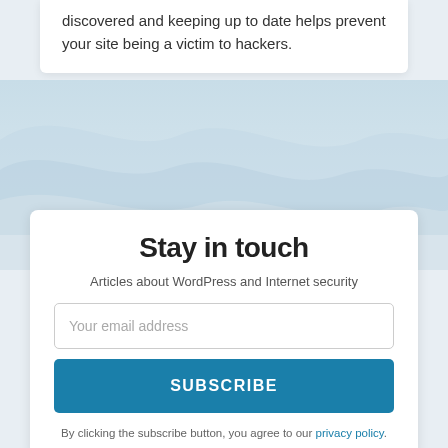discovered and keeping up to date helps prevent your site being a victim to hackers.
[Figure (illustration): Decorative wave background in shades of light blue and grey]
Stay in touch
Articles about WordPress and Internet security
Your email address
SUBSCRIBE
By clicking the subscribe button, you agree to our privacy policy.